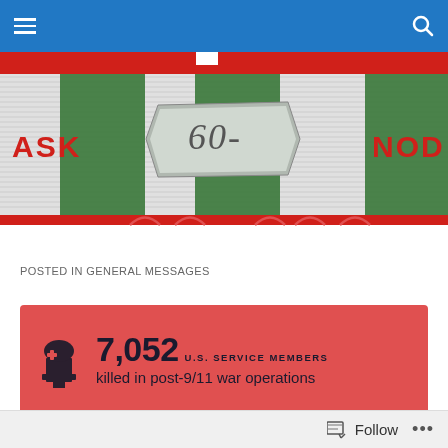Navigation bar with hamburger menu and search icon
[Figure (illustration): Military medal ribbon banner with green and white stripes, text ASK on left, NOD on right, center scroll reading 60-, red stripes top and bottom, decorative arches at bottom]
POSTED IN GENERAL MESSAGES
[Figure (infographic): Red card with tombstone icon showing 7,052 U.S. SERVICE MEMBERS killed in post-9/11 war operations]
[Figure (infographic): Dark card with four tombstone icons and 30,177 SUICIDES statistic]
Follow ...